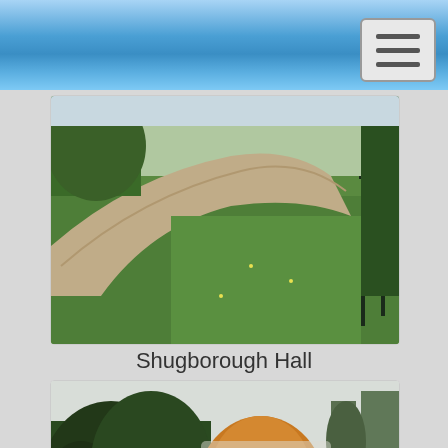[Figure (photo): Outdoor photo of Shugborough Hall grounds showing a curved path or driveway on the left side and green lawn grass on the right, with a fence visible in the background right.]
Shugborough Hall
[Figure (photo): Photo of a stone bridge with people walking across it, surrounded by trees with autumn foliage including orange and yellow leaves, in a park or estate garden setting.]